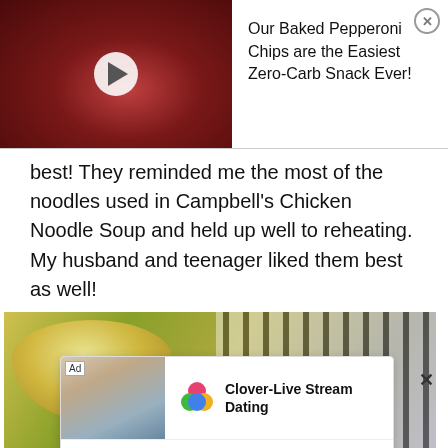[Figure (screenshot): Ad banner showing baked pepperoni chips video thumbnail with play button on left, text on right]
Our Baked Pepperoni Chips are the Easiest Zero-Carb Snack Ever!
best! They reminded me the most of the noodles used in Campbell's Chicken Noodle Soup and held up well to reheating. My husband and teenager liked them best as well!
[Figure (photo): Photo of chicken noodle soup in a bowl with vegetables, side cloth, and a smaller bowl of soup at bottom]
[Figure (screenshot): Ad overlay for Clover-Live Stream Dating app with woman photo, app logo, name, and Download link]